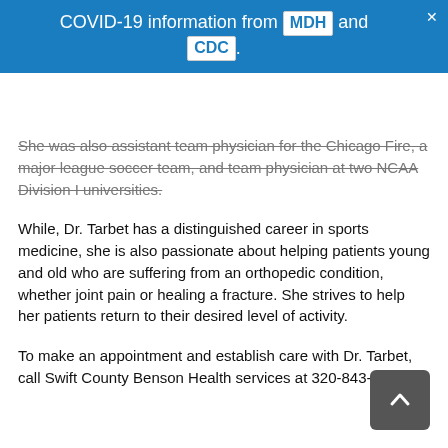COVID-19 information from MDH and CDC.
She was also assistant team physician for the Chicago Fire, a major league soccer team, and team physician at two NCAA Division I universities.
While, Dr. Tarbet has a distinguished career in sports medicine, she is also passionate about helping patients young and old who are suffering from an orthopedic condition, whether joint pain or healing a fracture. She strives to help her patients return to their desired level of activity.
To make an appointment and establish care with Dr. Tarbet, call Swift County Benson Health services at 320-843-4232.